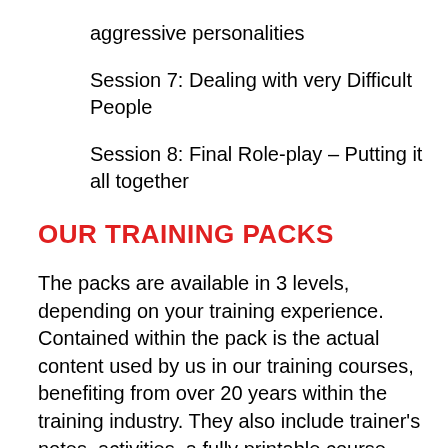aggressive personalities
Session 7: Dealing with very Difficult People
Session 8: Final Role-play – Putting it all together
OUR TRAINING PACKS
The packs are available in 3 levels, depending on your training experience. Contained within the pack is the actual content used by us in our training courses, benefiting from over 20 years within the training industry. They also include trainer's notes, activities, a fully printable course manual and comprehensive instructions how to run the most effective course.